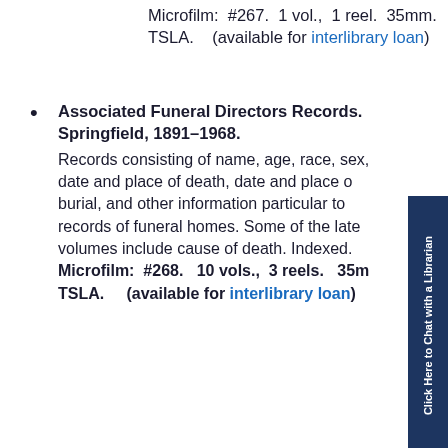Microfilm: #267. 1 vol., 1 reel. 35mm. TSLA. (available for interlibrary loan)
Associated Funeral Directors Records. Springfield, 1891-1968. Records consisting of name, age, race, sex, date and place of death, date and place of burial, and other information particular to records of funeral homes. Some of the later volumes include cause of death. Indexed. Microfilm: #268. 10 vols., 3 reels. 35mm. TSLA. (available for interlibrary loan)